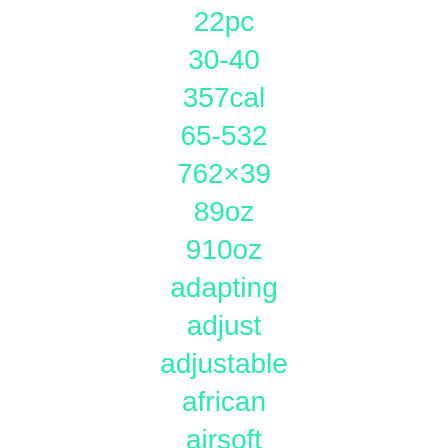22pc
30-40
357cal
65-532
762×39
89oz
910oz
adapting
adjust
adjustable
african
airsoft